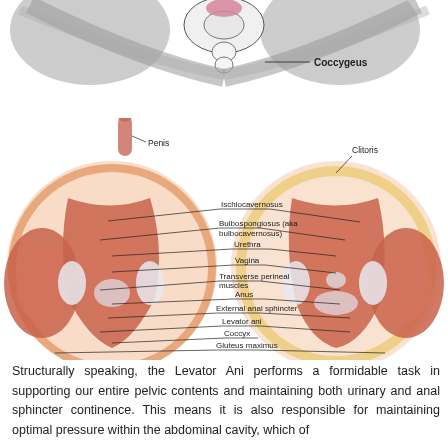[Figure (illustration): Top portion of a pelvic anatomy diagram showing the coccygeus muscle labeled with an arrow, viewed from below/posterior. Gray and pink anatomical illustration showing pelvic floor muscles and bony structures.]
[Figure (illustration): Side-by-side anatomical illustration showing pelvic floor muscles from inferior view for male (left, showing penis) and female (right, showing clitoris). Labels indicate: Ischiocavernosus, Bulbospongiosus (aka bulbocavernosus), Urethra, Vagina, Transverse perineal muscles, Anus, External anal sphincter, Levator ani, Coccyx, Gluteus maximus, Clitoris, Penis.]
Structurally speaking, the Levator Ani performs a formidable task in supporting our entire pelvic contents and maintaining both urinary and anal sphincter continence. This means it is also responsible for maintaining optimal pressure within the abdominal cavity, which of